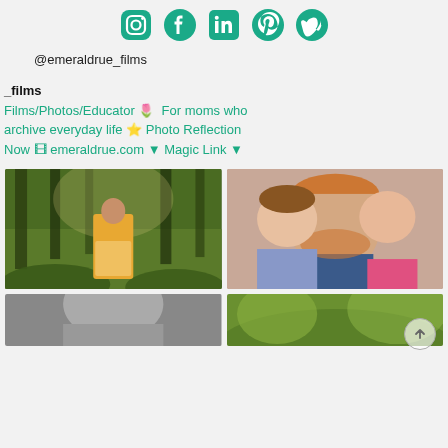[Figure (illustration): Row of social media icons: Instagram, Facebook, LinkedIn, Pinterest, Vimeo in teal/green color]
@emeraldrue_films
_films
Films/Photos/Educator 🌷 For moms who archive everyday life ⭐ Photo Reflection Now 🎞 emeraldrue.com ▼ Magic Link ▼
[Figure (photo): Girl in yellow/orange dress standing in forest, video play button overlay]
[Figure (photo): Man being kissed on cheeks by two young girls, video play button overlay]
[Figure (photo): Black and white portrait, partially visible at bottom]
[Figure (photo): Green outdoor scene, partially visible at bottom]